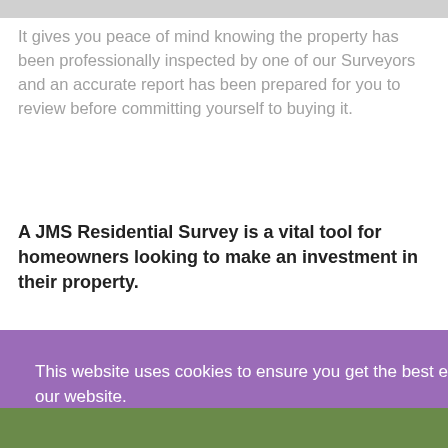It gives you peace of mind knowing the property has been professionally inspected by one of our Surveyors and an accurate report has been prepared for you to review before committing yourself to buying it.
A JMS Residential Survey is a vital tool for homeowners looking to make an investment in their property.
This website uses cookies to ensure you get the best experience on our website.
Learn more
Got it!
[Figure (photo): Outdoor landscape photo strip at the bottom of the page, appears to be a green field or garden.]